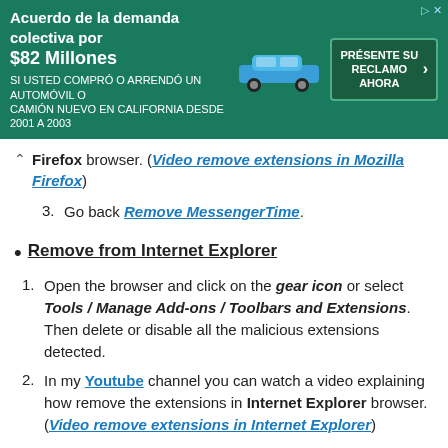[Figure (other): Advertisement banner in Spanish for a class action lawsuit settlement of $82 million for people who bought or leased a new car or truck in California from 2001 to 2003. Teal/green background with car image and call-to-action button.]
Firefox browser. (Video remove extensions in Mozilla Firefox)
Go back Remove MessengerTime.
Remove from Internet Explorer
Open the browser and click on the gear icon or select Tools / Manage Add-ons / Toolbars and Extensions. Then delete or disable all the malicious extensions detected.
In my Youtube channel you can watch a video explaining how remove the extensions in Internet Explorer browser. (Video remove extensions in Internet Explorer)
Go back Remove MessengerTime.
Remove from Google Chrome